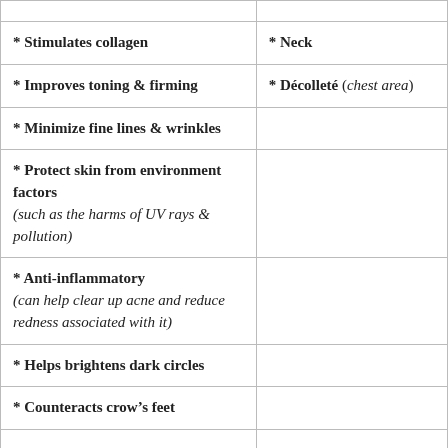| * Stimulates collagen | * Neck |
| * Improves toning & firming | * Décolleté (chest area) |
| * Minimize fine lines & wrinkles |  |
| * Protect skin from environment factors
(such as the harms of UV rays & pollution) |  |
| * Anti-inflammatory
(can help clear up acne and reduce redness associated with it) |  |
| * Helps brightens dark circles |  |
| * Counteracts crow's feet |  |